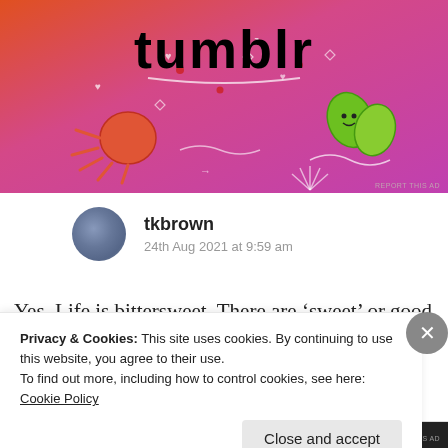[Figure (screenshot): Tumblr advertisement banner with colorful orange-to-pink gradient background, white doodle illustrations of sun, leaves, arrows, hearts, and the word 'tumblr' in large black bold text. 'REPORT THIS AD' text in bottom right corner.]
tkbrown
24th Aug 2021 at 9:59 am
Yes. Life is bittersweet. There are ‘sweet’ or good points, or as Jung would say, the light parts of all
Privacy & Cookies: This site uses cookies. By continuing to use this website, you agree to their use.
To find out more, including how to control cookies, see here: Cookie Policy
Close and accept